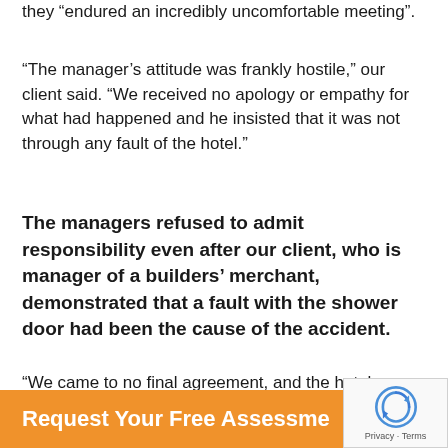they “endured an incredibly uncomfortable meeting”.
“The manager’s attitude was frankly hostile,” our client said. “We received no apology or empathy for what had happened and he insisted that it was not through any fault of the hotel.”
The managers refused to admit responsibility even after our client, who is manager of a builders’ merchant, demonstrated that a fault with the shower door had been the cause of the accident.
“We came to no final agreement, and the hotel seemed content to forget about the incident.”
Request Your Free Assessment